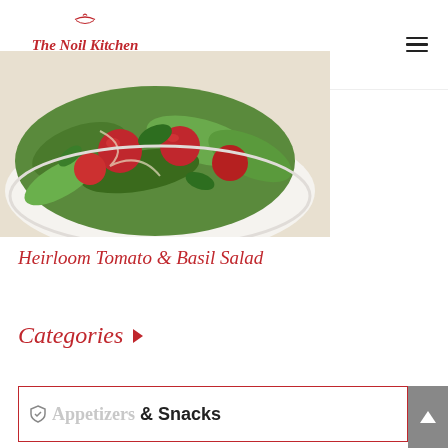The Noil Kitchen – Vibrant for Life
[Figure (photo): Close-up photo of a salad bowl with heirloom tomatoes, greens, and basil on a light background]
Heirloom Tomato & Basil Salad
Categories
Appetizers & Snacks